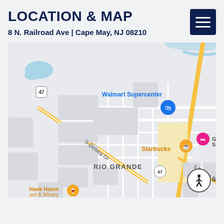LOCATION & MAP
8 N. Railroad Ave | Cape May, NJ 08210
[Figure (map): Google Maps screenshot showing the area around Rio Grande, NJ near Cape May. Shows Walmart Supercenter, Starbucks, S Delsea Dr, Route 47, Route 9, Hawk Haven Vineyard & Winery, and an accessibility icon in the bottom right corner.]